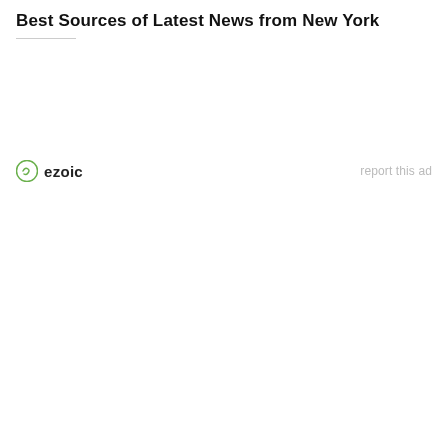Best Sources of Latest News from New York
[Figure (other): Ezoic ad placeholder area with ezoic logo on left and 'report this ad' link on right]